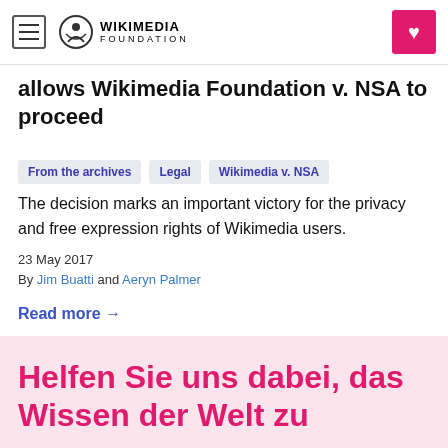Wikimedia Foundation
allows Wikimedia Foundation v. NSA to proceed
From the archives
Legal
Wikimedia v. NSA
The decision marks an important victory for the privacy and free expression rights of Wikimedia users.
23 May 2017
By Jim Buatti and Aeryn Palmer
Read more →
Helfen Sie uns dabei, das Wissen der Welt zu